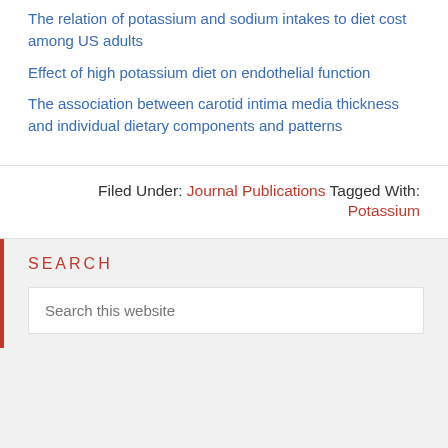The relation of potassium and sodium intakes to diet cost among US adults
Effect of high potassium diet on endothelial function
The association between carotid intima media thickness and individual dietary components and patterns
Filed Under: Journal Publications Tagged With: Potassium
SEARCH
Search this website